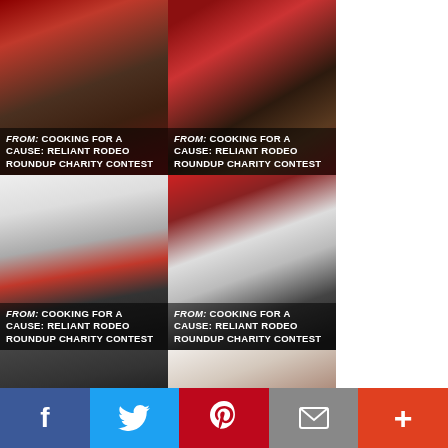[Figure (photo): Photo grid cell 1 - event photo with text overlay: FROM: COOKING FOR A CAUSE: RELIANT RODEO ROUNDUP CHARITY CONTEST]
[Figure (photo): Photo grid cell 2 - event photo with text overlay: FROM: COOKING FOR A CAUSE: RELIANT RODEO ROUNDUP CHARITY CONTEST]
[Figure (photo): Photo grid cell 3 - group photo with aprons, text overlay: FROM: COOKING FOR A CAUSE: RELIANT RODEO ROUNDUP CHARITY CONTEST]
[Figure (photo): Photo grid cell 4 - group photo at event, text overlay: FROM: COOKING FOR A CAUSE: RELIANT RODEO ROUNDUP CHARITY CONTEST]
[Figure (photo): Photo grid cell 5 - group photo at event, text overlay: FROM: COOKING FOR A CAUSE: RELIANT RODEO ROUNDUP CHARITY CONTEST]
[Figure (photo): Photo grid cell 6 - man with glasses hugging, text overlay: FROM: BACK TO SCHOOL]
[Figure (photo): Photo grid cell 7 - partially visible photo at bottom left]
[Figure (photo): Photo grid cell 8 - partially visible black and white photo at bottom right]
Facebook | Twitter | Pinterest | Email | More